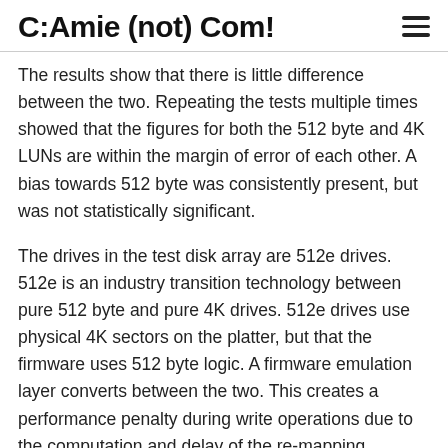C:Amie (not) Com!
The results show that there is little difference between the two. Repeating the tests multiple times showed that the figures for both the 512 byte and 4K LUNs are within the margin of error of each other. A bias towards 512 byte was consistently present, but was not statistically significant.
The drives in the test disk array are 512e drives. 512e is an industry transition technology between pure 512 byte and pure 4K drives. 512e drives use physical 4K sectors on the platter, but that the firmware uses 512 byte logic. A firmware emulation layer converts between the two. This creates a performance penalty during write operations due to the computation and delay of the re-mapping operation. Neither sector size will prevent this from occurring.